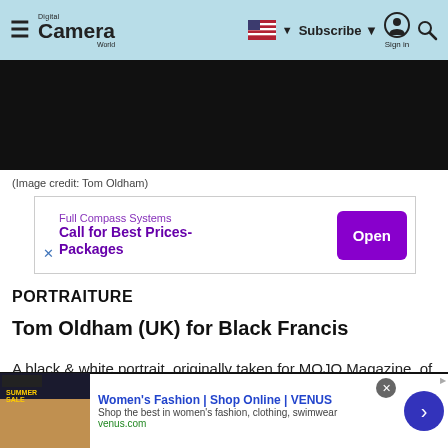Digital Camera World — Subscribe | Sign in
[Figure (photo): Dark/black image panel, partially visible, cropped at top]
(Image credit: Tom Oldham)
[Figure (screenshot): Advertisement banner: Full Compass Systems — Call for Best Prices-Packages — Open button]
PORTRAITURE
Tom Oldham (UK) for Black Francis
A black & white portrait, originally taken for MOJO Magazine, of Pixies frontman Charles Thompson (aka Black Francis). When approaching the assignment
[Figure (screenshot): Bottom advertisement: Women's Fashion | Shop Online | VENUS — Shop the best in women's fashion, clothing, swimwear — venus.com]